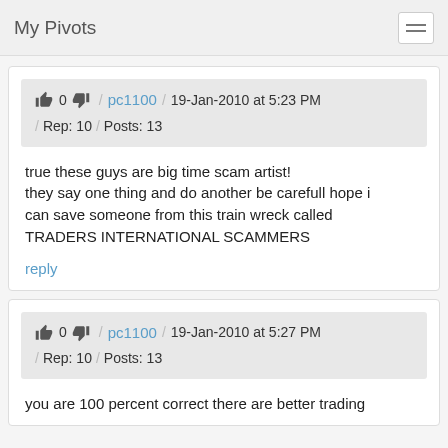My Pivots
👍 0 👎  /  pc1100  /  19-Jan-2010 at 5:23 PM  /  Rep: 10  /  Posts: 13
true these guys are big time scam artist!
they say one thing and do another be carefull hope i can save someone from this train wreck called TRADERS INTERNATIONAL SCAMMERS
reply
👍 0 👎  /  pc1100  /  19-Jan-2010 at 5:27 PM  /  Rep: 10  /  Posts: 13
you are 100 percent correct there are better trading